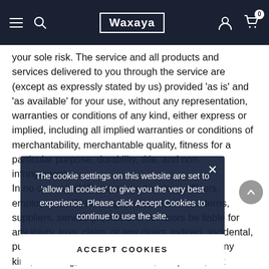Waxaya
your sole risk. The service and all products and services delivered to you through the service are (except as expressly stated by us) provided 'as is' and 'as available' for your use, without any representation, warranties or conditions of any kind, either express or implied, including all implied warranties or conditions of merchantability, merchantable quality, fitness for a particular purpose, durability, title, and non-infringement.
In no case shall Waxaya, our directors, officers, employees, affiliates, agents, contractors, interns, suppliers, service providers or licensors be liable for any injury, loss, claim, or any direct, indirect, incidental, punitive, special, or consequential damages of any kind, including, without limitation, lost profits, lost revenue, lost savings, loss of data, replacement costs, or any similar damages, whether based in contract, tort (including negligence), strict liability or otherwise, arising from your use of any of the service or any products procured using the service, or for any other claim related in any way to your use of the service or any product, including, but not limited to, any errors or
The cookie settings on this website are set to 'allow all cookies' to give you the very best experience. Please click Accept Cookies to continue to use the site.
ACCEPT COOKIES